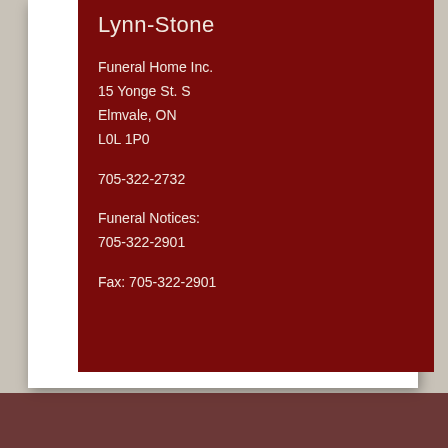Lynn-Stone
Funeral Home Inc.
15 Yonge St. S
Elmvale, ON
L0L 1P0
705-322-2732
Funeral Notices:
705-322-2901
Fax: 705-322-2901